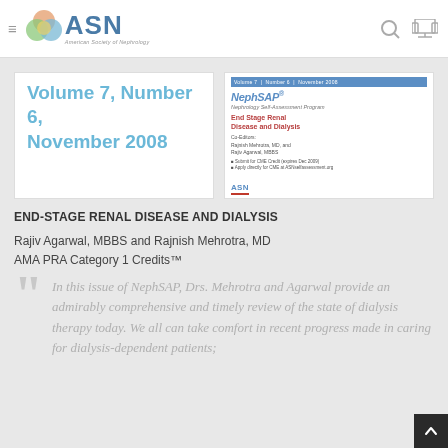[Figure (logo): ASN (American Society of Nephrology) logo with colorful overlapping circles and blue ASN text]
Volume 7, Number 6, November 2008
[Figure (screenshot): Thumbnail of NephSAP journal cover showing End Stage Renal Disease and Dialysis issue]
END-STAGE RENAL DISEASE AND DIALYSIS
Rajiv Agarwal, MBBS and Rajnish Mehrotra, MD
AMA PRA Category 1 Credits™
In this issue of NephSAP, Drs. Mehrotra and Agarwal provide an admirably comprehensive and timely review of the state of dialysis therapy today. We all can take comfort in recent progress made in caring for dialysis-dependent patients;